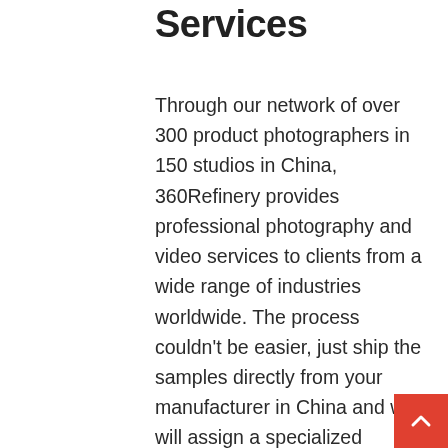Services
Through our network of over 300 product photographers in 150 studios in China, 360Refinery provides professional photography and video services to clients from a wide range of industries worldwide. The process couldn't be easier, just ship the samples directly from your manufacturer in China and we will assign a specialized photography team for your type of product in no time. Our